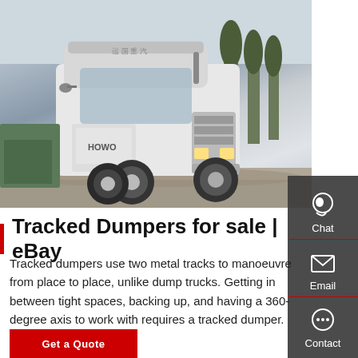[Figure (photo): A white HOWO semi-truck/tractor unit parked in a lot with trees and other vehicles in the background.]
Tracked Dumpers for sale | eBay
Tracked dumpers use two metal tracks to manoeuvre from place to place, unlike dump trucks. Getting in between tight spaces, backing up, and having a 360-degree axis to work with requires a tracked dumper.
[Figure (other): Red button labeled Get a Quote]